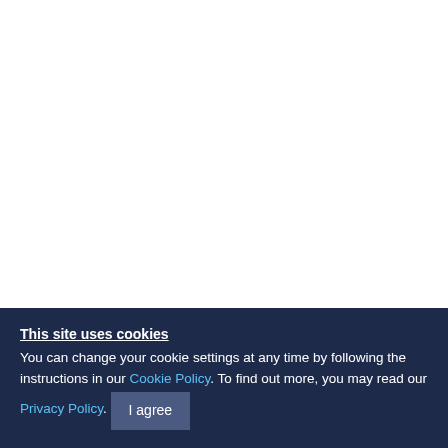overexpre
explore th
Supple
Kaplan-M
diabetes g
LRG, insu
Changes i
Changes i
Ackno
Not applic
Fundi
This site uses cookies
You can change your cookie settings at any time by following the instructions in our Cookie Policy. To find out more, you may read our Privacy Policy.